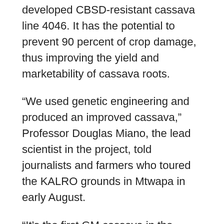developed CBSD-resistant cassava line 4046. It has the potential to prevent 90 percent of crop damage, thus improving the yield and marketability of cassava roots.
“We used genetic engineering and produced an improved cassava,” Professor Douglas Miano, the lead scientist in the project, told journalists and farmers who toured the KALRO grounds in Mtwapa in early August.
“It’s the first GM cassava in the world, and Kenya is leading in this production,” Miano said.
The VIRCA (Virus Resistant Cassava for Africa) project was conceived in 2005 with the aim of solving the viral diseases that suppress cassava yields and reduce farmer incomes in East Africa. It brings together KALRO, the National Agricultural Research Organization (NARO) of Uganda and the Donald Danforth Plant Science Centre